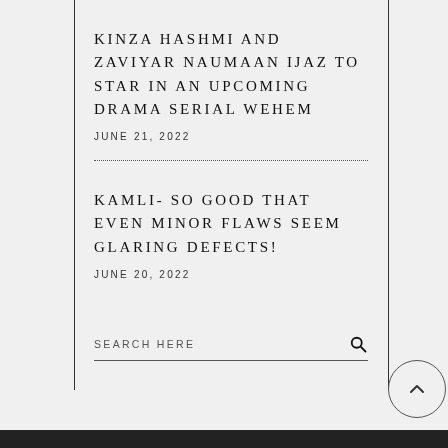KINZA HASHMI AND ZAVIYAR NAUMAAN IJAZ TO STAR IN AN UPCOMING DRAMA SERIAL WEHEM
JUNE 21, 2022
KAMLI- SO GOOD THAT EVEN MINOR FLAWS SEEM GLARING DEFECTS!
JUNE 20, 2022
SEARCH HERE